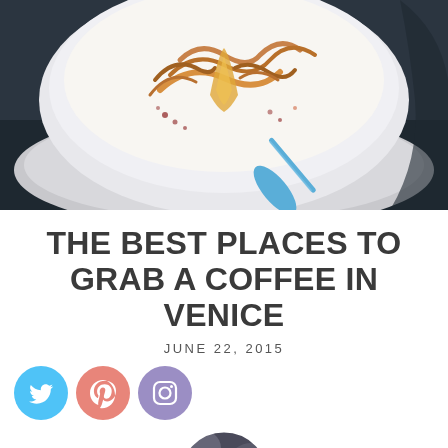[Figure (photo): Close-up photo of a latte art coffee in a white cup on a saucer, with decorative swirl patterns in brown and golden tones on white foam, blue spoon visible, dark background]
THE BEST PLACES TO GRAB A COFFEE IN VENICE
JUNE 22, 2015
[Figure (infographic): Three social media icon circles: Twitter (blue bird), Pinterest (pink/salmon P), Instagram (purple/lavender camera)]
[Figure (photo): Circular author profile photo showing a woman with long brown hair looking upward, partially cropped at bottom of page]